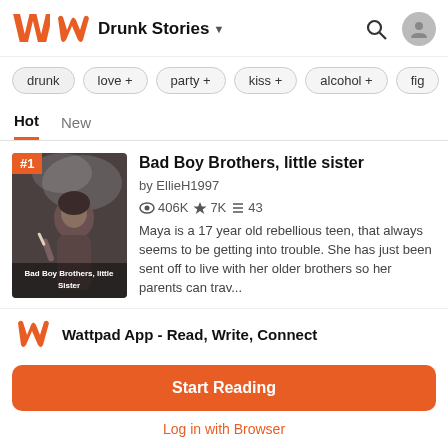Drunk Stories
drunk  love +  party +  kiss +  alcohol +  fig
Hot  New
[Figure (photo): Book cover for 'Bad Boy Brothers, little sister' showing a girl smoking]
Bad Boy Brothers, little sister
by EllieH1997
406K ★7K 43
Maya is a 17 year old rebellious teen, that always seems to be getting into trouble. She has just been sent off to live with her older brothers so her parents can trav...
Wattpad App - Read, Write, Connect
Start Reading
Log in with Browser